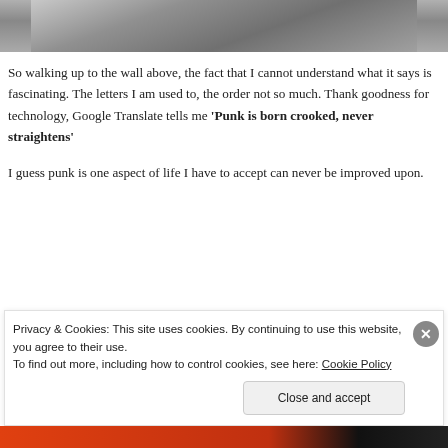[Figure (photo): Partial view of a stone or concrete wall with texture, cropped at the top of the page.]
So walking up to the wall above, the fact that I cannot understand what it says is fascinating. The letters I am used to, the order not so much. Thank goodness for technology, Google Translate tells me ‘Punk is born crooked, never straightens’
I guess punk is one aspect of life I have to accept can never be improved upon.
Privacy & Cookies: This site uses cookies. By continuing to use this website, you agree to their use.
To find out more, including how to control cookies, see here: Cookie Policy
Close and accept